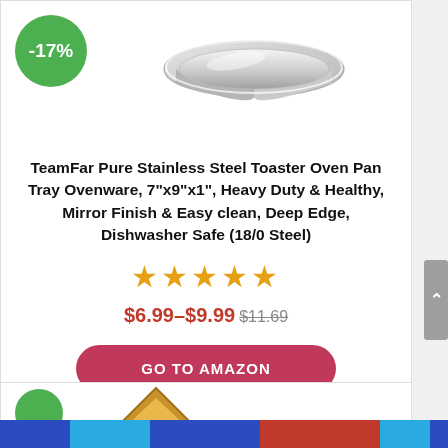[Figure (photo): Stainless steel toaster oven pan tray product image with -17% discount badge in green circle]
TeamFar Pure Stainless Steel Toaster Oven Pan Tray Ovenware, 7"x9"x1", Heavy Duty & Healthy, Mirror Finish & Easy clean, Deep Edge, Dishwasher Safe (18/0 Steel)
[Figure (other): Five orange/gold star rating icons]
$6.99–$9.99 $11.69
GO TO AMAZON